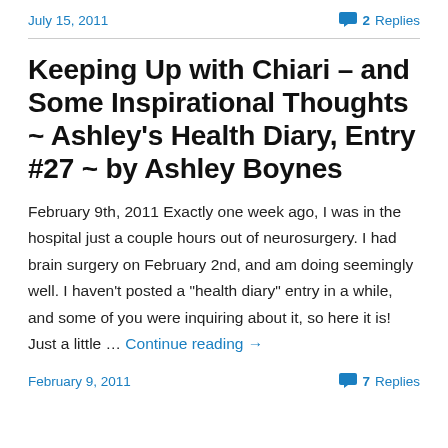July 15, 2011   2 Replies
Keeping Up with Chiari – and Some Inspirational Thoughts ~ Ashley's Health Diary, Entry #27 ~ by Ashley Boynes
February 9th, 2011 Exactly one week ago, I was in the hospital just a couple hours out of neurosurgery. I had brain surgery on February 2nd, and am doing seemingly well. I haven't posted a "health diary" entry in a while, and some of you were inquiring about it, so here it is! Just a little … Continue reading →
February 9, 2011   7 Replies